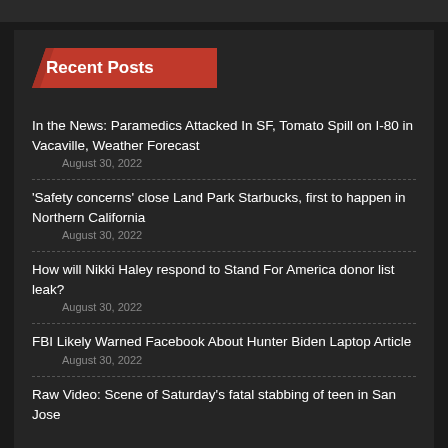Recent Posts
In the News: Paramedics Attacked In SF, Tomato Spill on I-80 in Vacaville, Weather Forecast
August 30, 2022
'Safety concerns' close Land Park Starbucks, first to happen in Northern California
August 30, 2022
How will Nikki Haley respond to Stand For America donor list leak?
August 30, 2022
FBI Likely Warned Facebook About Hunter Biden Laptop Article
August 30, 2022
Raw Video: Scene of Saturday's fatal stabbing of teen in San Jose